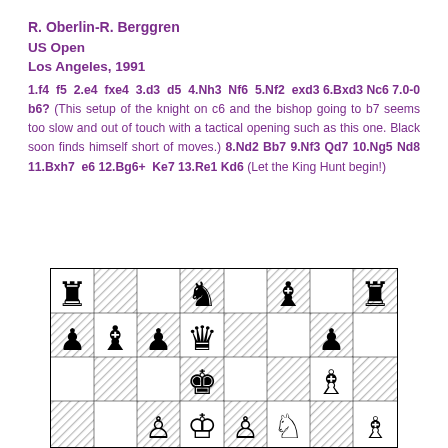R. Oberlin-R. Berggren
US Open
Los Angeles, 1991
1.f4  f5  2.e4  fxe4  3.d3  d5  4.Nh3  Nf6  5.Nf2  exd3 6.Bxd3 Nc6 7.0-0 b6? (This setup of the knight on c6 and the bishop going to b7 seems too slow and out of touch with a tactical opening such as this one. Black soon finds himself short of moves.) 8.Nd2 Bb7 9.Nf3 Qd7 10.Ng5 Nd8 11.Bxh7  e6 12.Bg6+  Ke7 13.Re1 Kd6 (Let the King Hunt begin!)
[Figure (other): Chess board diagram showing a position from the game R. Oberlin-R. Berggren, US Open, Los Angeles 1991, after move 13...Kd6. The board shows various chess pieces including rooks, knights, bishops, queens, kings, and pawns on a standard 8x8 chessboard with alternating light and hatched squares.]